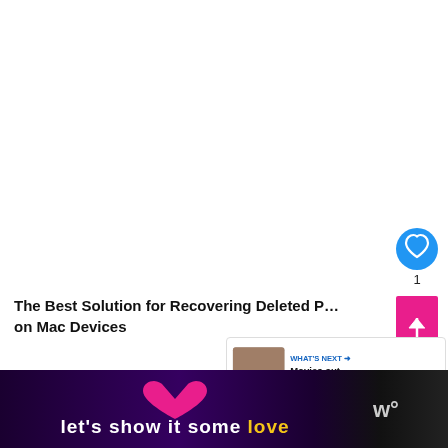[Figure (screenshot): White blank area at top of webpage]
The Best Solution for Recovering Deleted P… on Mac Devices
Best YouTube Editing Software for All Devices
[Figure (infographic): Bottom banner advertisement reading 'let's show it some love' with pink heart graphic and logo]
[Figure (screenshot): What's Next widget showing 'Movies out Today: 05...' with thumbnail image]
[Figure (illustration): Blue circular like/heart button with count of 1, and pink scroll-to-top arrow button]